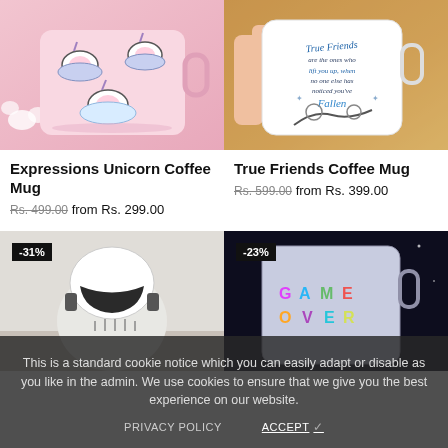[Figure (photo): Pink unicorn coffee mug with cartoon unicorn characters on clouds]
Expressions Unicorn Coffee Mug
Rs. 499.00 from Rs. 299.00
[Figure (photo): White coffee mug held by hand with 'True Friends' text and pinky promise illustration]
True Friends Coffee Mug
Rs. 599.00 from Rs. 399.00
[Figure (photo): Stormtrooper helmet shaped coffee mug with -31% discount badge]
[Figure (photo): Game Over coffee mug with pixel art letters and stars, with -23% discount badge]
This is a standard cookie notice which you can easily adapt or disable as you like in the admin. We use cookies to ensure that we give you the best experience on our website.
PRIVACY POLICY
ACCEPT ✓